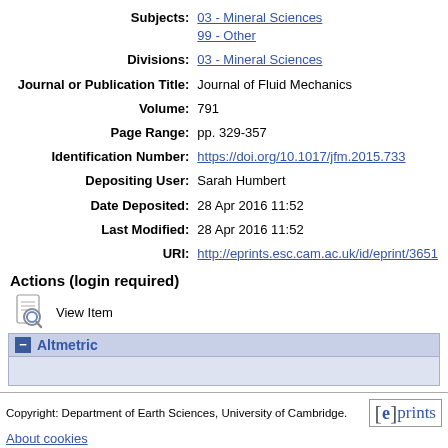| Field | Value |
| --- | --- |
| Subjects: | 03 - Mineral Sciences
99 - Other |
| Divisions: | 03 - Mineral Sciences |
| Journal or Publication Title: | Journal of Fluid Mechanics |
| Volume: | 791 |
| Page Range: | pp. 329-357 |
| Identification Number: | https://doi.org/10.1017/jfm.2015.733 |
| Depositing User: | Sarah Humbert |
| Date Deposited: | 28 Apr 2016 11:52 |
| Last Modified: | 28 Apr 2016 11:52 |
| URI: | http://eprints.esc.cam.ac.uk/id/eprint/3651 |
Actions (login required)
View Item
Altmetric
Copyright: Department of Earth Sciences, University of Cambridge.
About cookies